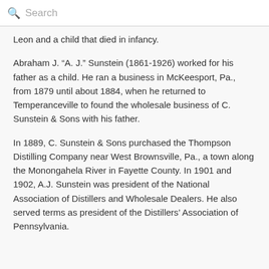Search
Leon and a child that died in infancy.
Abraham J. “A. J.” Sunstein (1861-1926) worked for his father as a child. He ran a business in McKeesport, Pa., from 1879 until about 1884, when he returned to Temperanceville to found the wholesale business of C. Sunstein & Sons with his father.
In 1889, C. Sunstein & Sons purchased the Thompson Distilling Company near West Brownsville, Pa., a town along the Monongahela River in Fayette County. In 1901 and 1902, A.J. Sunstein was president of the National Association of Distillers and Wholesale Dealers. He also served terms as president of the Distillers’ Association of Pennsylvania.